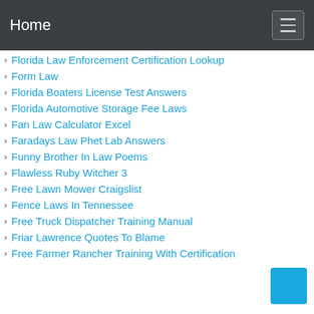Home
Florida Law Enforcement Certification Lookup
Form Law
Florida Boaters License Test Answers
Florida Automotive Storage Fee Laws
Fan Law Calculator Excel
Faradays Law Phet Lab Answers
Funny Brother In Law Poems
Flawless Ruby Witcher 3
Free Lawn Mower Craigslist
Fence Laws In Tennessee
Free Truck Dispatcher Training Manual
Friar Lawrence Quotes To Blame
Free Farmer Rancher Training With Certification